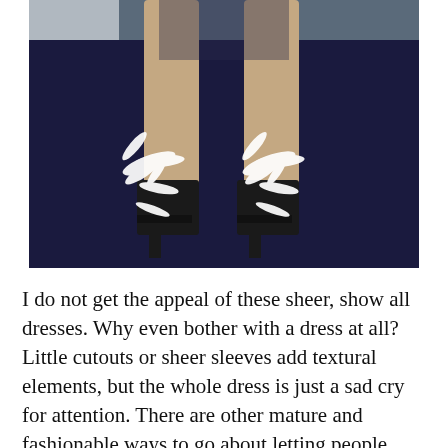[Figure (photo): Close-up photo of a person's legs wearing black high-heeled sandals with white ornate feather/leaf decorations around the ankles, standing on a dark blue carpet. The background shows dark blue carpet and a wall.]
I do not get the appeal of these sheer, show all dresses. Why even bother with a dress at all? Little cutouts or sheer sleeves add textural elements, but the whole dress is just a sad cry for attention. There are other mature and fashionable ways to go about letting people know you love your body, are in great shape, have style, etc, etc. This is not the way